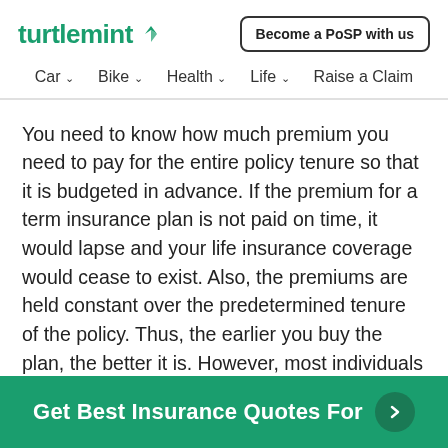turtlemint
[Figure (logo): Turtlemint logo with green text and turtle icon, plus 'Become a PoSP with us' button]
Car  Bike  Health  Life  Raise a Claim
You need to know how much premium you need to pay for the entire policy tenure so that it is budgeted in advance. If the premium for a term insurance plan is not paid on time, it would lapse and your life insurance coverage would cease to exist. Also, the premiums are held constant over the predetermined tenure of the policy. Thus, the earlier you buy the plan, the better it is. However, most individuals only realize
Get Best Insurance Quotes For